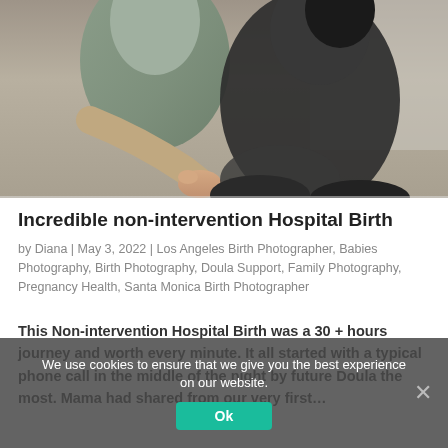[Figure (photo): A healthcare or doula professional placing a hand on a pregnant woman's belly during a consultation or birth support session. Two people visible, one wearing a light green hoodie.]
Incredible non-intervention Hospital Birth
by Diana | May 3, 2022 | Los Angeles Birth Photographer, Babies Photography, Birth Photography, Doula Support, Family Photography, Pregnancy Health, Santa Monica Birth Photographer
This Non-intervention Hospital Birth was a 30 + hours journey and worth every minute. It all started with a typical phone call in the middle of the night by future Doula the most. Mama had shared from our very first...
We use cookies to ensure that we give you the best experience on our website.